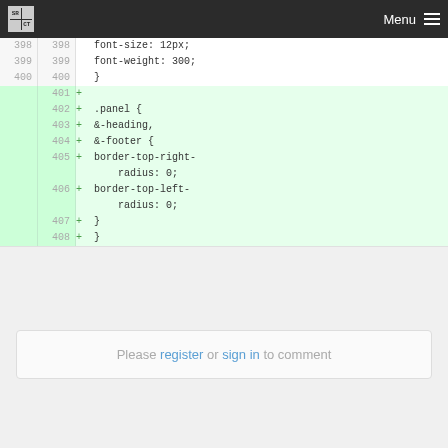SRCT | Menu
[Figure (screenshot): Code diff view showing CSS lines 398-408. Lines 398-400 are unchanged showing font-size: 12px, font-weight: 300, and closing brace. Lines 401-408 are added (green) showing .panel selector with &-heading and &-footer nested rules setting border-top-right-radius: 0 and border-top-left-radius: 0.]
Please register or sign in to comment